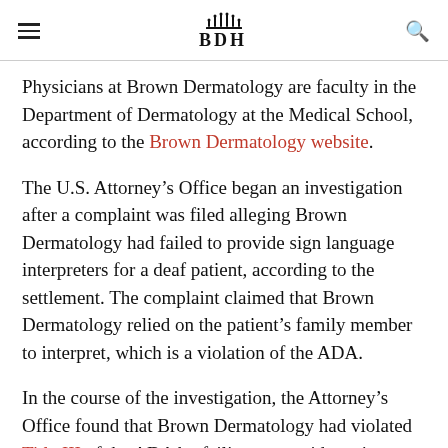BDH
Physicians at Brown Dermatology are faculty in the Department of Dermatology at the Medical School, according to the Brown Dermatology website.
The U.S. Attorney's Office began an investigation after a complaint was filed alleging Brown Dermatology had failed to provide sign language interpreters for a deaf patient, according to the settlement. The complaint claimed that Brown Dermatology relied on the patient's family member to interpret, which is a violation of the ADA.
In the course of the investigation, the Attorney's Office found that Brown Dermatology had violated Title III of the ADA by failing to provide patients with effective